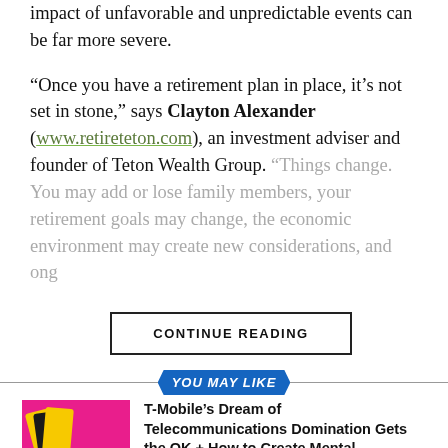impact of unfavorable and unpredictable events can be far more severe.
“Once you have a retirement plan in place, it’s not set in stone,” says Clayton Alexander (www.retireteton.com), an investment adviser and founder of Teton Wealth Group. “Things change. You may add or lose family members, your retirement goals may change, the economic environment may create new considerations, and on…
CONTINUE READING
YOU MAY LIKE
T-Mobile’s Dream of Telecommunications Domination Gets the OK + How to Create Mental Toughness While Pursuing Your Dreams
Amazon Plans to Add 15,000 Jobs + How to Prepare for the Job You Want